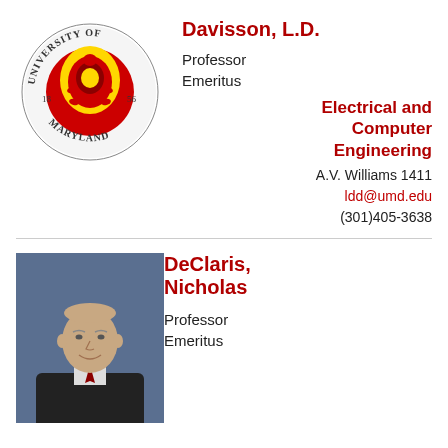[Figure (logo): University of Maryland circular logo with Terrapin mascot, black and gold text reading UNIVERSITY OF MARYLAND and years 18 56]
Davisson, L.D.
Professor
Emeritus
Electrical and Computer Engineering
A.V. Williams 1411
ldd@umd.edu
(301)405-3638
[Figure (photo): Headshot photo of DeClaris, Nicholas - an older gentleman in a suit]
DeClaris, Nicholas
Professor
Emeritus